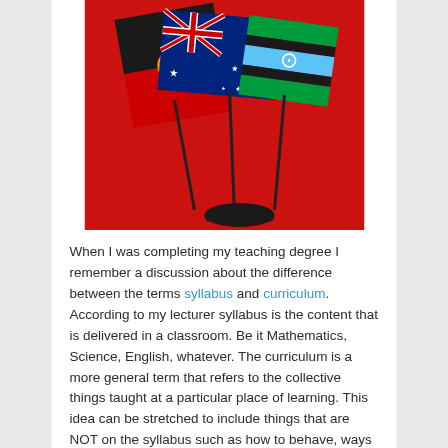[Figure (photo): Three small flags on a black stand against a red background: Aboriginal Australian flag (black and red with orange circle), Australian national flag (blue with Union Jack and stars), and Torres Strait Islander flag (green and blue with white star and symbol).]
When I was completing my teaching degree I remember a discussion about the difference between the terms syllabus and curriculum. According to my lecturer syllabus is the content that is delivered in a classroom. Be it Mathematics, Science, English, whatever. The curriculum is a more general term that refers to the collective things taught at a particular place of learning. This idea can be stretched to include things that are NOT on the syllabus such as how to behave, ways of treating each other, dealing with the system that is our world, etc.
I read a post by Mike at Marriage, Sex and More discussing the idea of teaching about marriage in schools